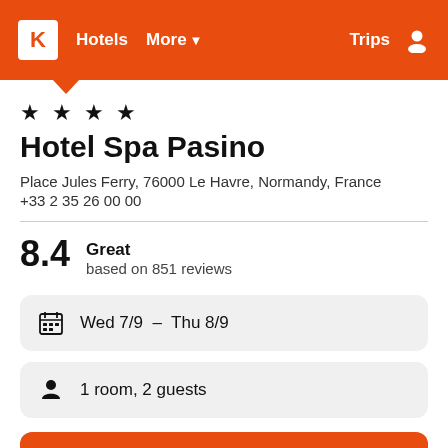K Hotels More ∨ Trips
★ ★ ★ ★
Hotel Spa Pasino
Place Jules Ferry, 76000 Le Havre, Normandy, France
+33 2 35 26 00 00
8.4 Great based on 851 reviews
Wed 7/9 – Thu 8/9
1 room, 2 guests
Search